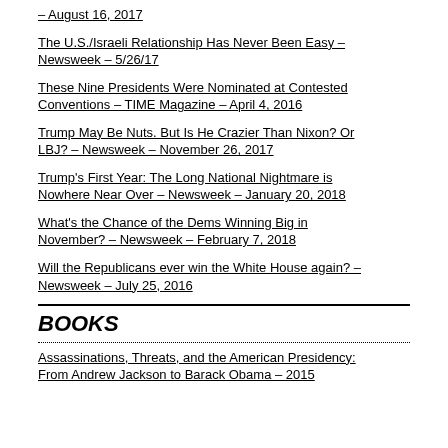– August 16, 2017
The U.S./Israeli Relationship Has Never Been Easy – Newsweek – 5/26/17
These Nine Presidents Were Nominated at Contested Conventions – TIME Magazine – April 4, 2016
Trump May Be Nuts. But Is He Crazier Than Nixon? Or LBJ? – Newsweek – November 26, 2017
Trump's First Year: The Long National Nightmare is Nowhere Near Over – Newsweek – January 20, 2018
What's the Chance of the Dems Winning Big in November? – Newsweek – February 7, 2018
Will the Republicans ever win the White House again? – Newsweek – July 25, 2016
BOOKS
Assassinations, Threats, and the American Presidency: From Andrew Jackson to Barack Obama – 2015